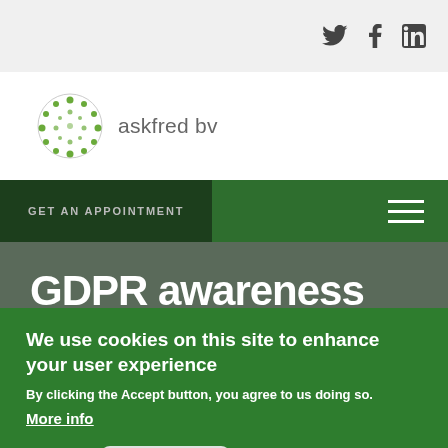Social icons: Twitter, Facebook, LinkedIn
[Figure (logo): askfred bv logo with green dotted circle graphic and text 'askfred bv']
GET AN APPOINTMENT
GDPR awareness
We use cookies on this site to enhance your user experience
By clicking the Accept button, you agree to us doing so.
More info
Accept   No, thanks